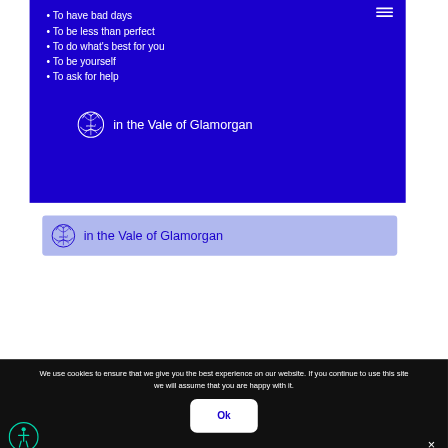To have bad days
To be less than perfect
To do what's best for you
To be yourself
To ask for help
[Figure (logo): Mind in the Vale of Glamorgan logo (white on blue background)]
[Figure (logo): Mind in the Vale of Glamorgan logo (dark blue on lavender background)]
We use cookies to ensure that we give you the best experience on our website. If you continue to use this site we will assume that you are happy with it.